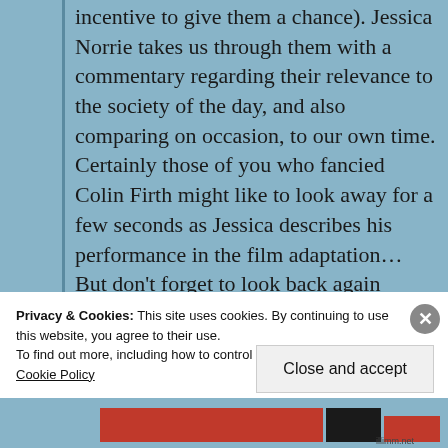incentive to give them a chance). Jessica Norrie takes us through them with a commentary regarding their relevance to the society of the day, and also comparing on occasion, to our own time. Certainly those of you who fancied Colin Firth might like to look away for a few seconds as Jessica describes his performance in the film adaptation… But don't forget to look back again quickly so that you do not miss the rest of the post and also the outstanding photos of Bath, where it is certain that Jane Austen people watched and
Privacy & Cookies: This site uses cookies. By continuing to use this website, you agree to their use.
To find out more, including how to control cookies, see here: Cookie Policy
Close and accept